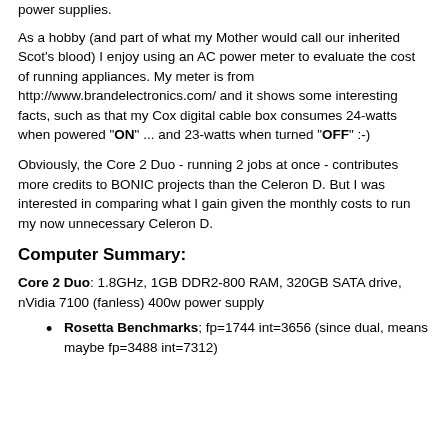power supplies.
As a hobby (and part of what my Mother would call our inherited Scot's blood) I enjoy using an AC power meter to evaluate the cost of running appliances. My meter is from http://www.brandelectronics.com/ and it shows some interesting facts, such as that my Cox digital cable box consumes 24-watts when powered "ON" ... and 23-watts when turned "OFF" :-)
Obviously, the Core 2 Duo - running 2 jobs at once - contributes more credits to BONIC projects than the Celeron D. But I was interested in comparing what I gain given the monthly costs to run my now unnecessary Celeron D.
Computer Summary:
Core 2 Duo: 1.8GHz, 1GB DDR2-800 RAM, 320GB SATA drive, nVidia 7100 (fanless) 400w power supply
Rosetta Benchmarks; fp=1744 int=3656 (since dual, means maybe fp=3488 int=7312)